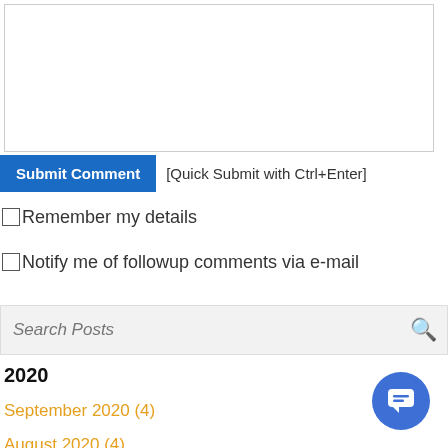[Figure (screenshot): Textarea input box for comment submission]
Submit Comment  [Quick Submit with Ctrl+Enter]
Remember my details
Notify me of followup comments via e-mail
Search Posts
2020
September 2020 (4)
August 2020 (4)
July 2020 (4)